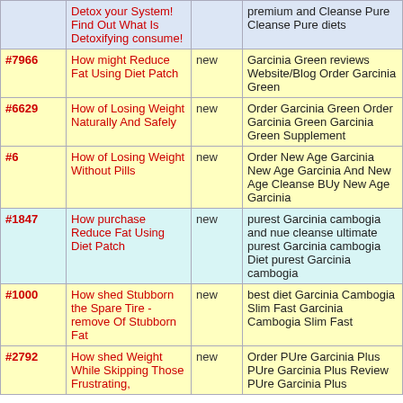| # | Title | Status | Description |
| --- | --- | --- | --- |
|  | Detox your System! Find Out What Is Detoxifying consume! |  | premium and Cleanse Pure Cleanse Pure diets |
| #7966 | How might Reduce Fat Using Diet Patch | new | Garcinia Green reviews Website/Blog Order Garcinia Green |
| #6629 | How of Losing Weight Naturally And Safely | new | Order Garcinia Green Order Garcinia Green Garcinia Green Supplement |
| #6 | How of Losing Weight Without Pills | new | Order New Age Garcinia New Age Garcinia And New Age Cleanse BUy New Age Garcinia |
| #1847 | How purchase Reduce Fat Using Diet Patch | new | purest Garcinia cambogia and nue cleanse ultimate purest Garcinia cambogia Diet purest Garcinia cambogia |
| #1000 | How shed Stubborn the Spare Tire - remove Of Stubborn Fat | new | best diet Garcinia Cambogia Slim Fast Garcinia Cambogia Slim Fast |
| #2792 | How shed Weight While Skipping Those Frustrating, | new | Order PUre Garcinia Plus PUre Garcinia Plus Review PUre Garcinia Plus |